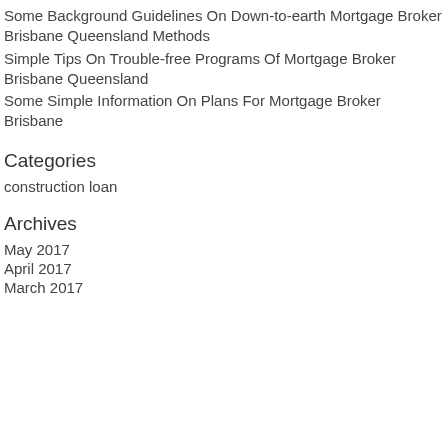Some Background Guidelines On Down-to-earth Mortgage Broker Brisbane Queensland Methods
Simple Tips On Trouble-free Programs Of Mortgage Broker Brisbane Queensland
Some Simple Information On Plans For Mortgage Broker Brisbane
Categories
construction loan
Archives
May 2017
April 2017
March 2017